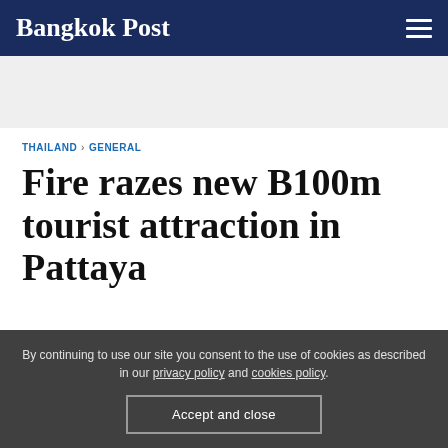Bangkok Post
THAILAND › GENERAL
Fire razes new B100m tourist attraction in Pattaya
By continuing to use our site you consent to the use of cookies as described in our privacy policy and cookies policy. Accept and close